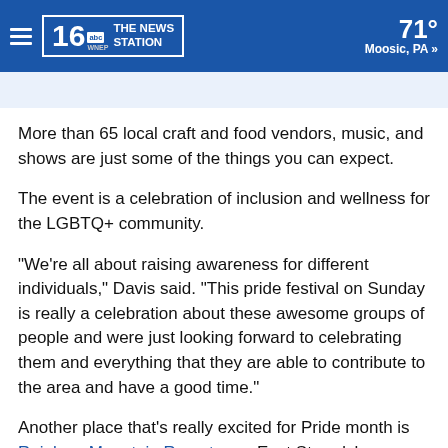16 WNEP THE NEWS STATION | 71° Moosic, PA »
More than 65 local craft and food vendors, music, and shows are just some of the things you can expect.
The event is a celebration of inclusion and wellness for the LGBTQ+ community.
"We're all about raising awareness for different individuals," Davis said. "This pride festival on Sunday is really a celebration about these awesome groups of people and were just looking forward to celebrating them and everything that they are able to contribute to the area and have a good time."
Another place that's really excited for Pride month is Rainbow Mountain Resort near East Stroudsburg. They